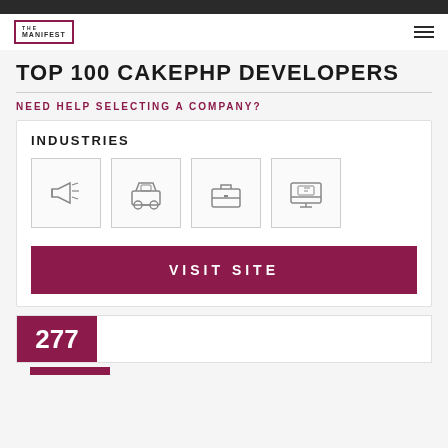THE MANIFEST
TOP 100 CAKEPHP DEVELOPERS
NEED HELP SELECTING A COMPANY?
INDUSTRIES
[Figure (illustration): Four industry icons in bordered boxes: megaphone/advertising, car/automotive, briefcase/business, monitor/e-commerce]
VISIT SITE
277